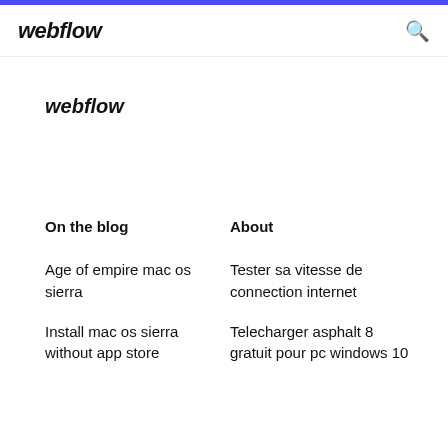webflow
webflow
On the blog
About
Age of empire mac os sierra
Tester sa vitesse de connection internet
Install mac os sierra without app store
Telecharger asphalt 8 gratuit pour pc windows 10